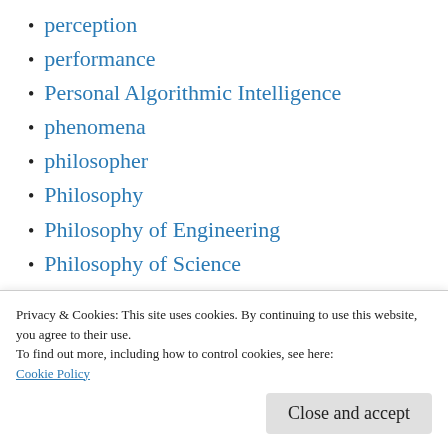perception
performance
Personal Algorithmic Intelligence
phenomena
philosopher
Philosophy
Philosophy of Engineering
Philosophy of Science
Philosophy of the actor
physical variable
Pictorial Actor Story
Privacy & Cookies: This site uses cookies. By continuing to use this website, you agree to their use.
To find out more, including how to control cookies, see here:
Cookie Policy
political program